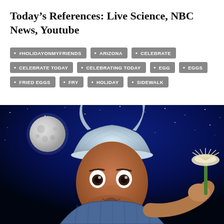Today’s References: Live Science, NBC News, Youtube
#HOLIDAYONMYFRIENDS
ARIZONA
CELEBRATE
CELEBRATE TODAY
CELEBRATING TODAY
EGG
EGGS
FRIED EGGS
FRY
HOLIDAY
SIDEWALK
[Figure (photo): A man wearing a tinfoil hat looking wide-eyed at the camera, holding a flower/whisk, against a night sky background with a full moon. The scene is dramatic and humorous.]